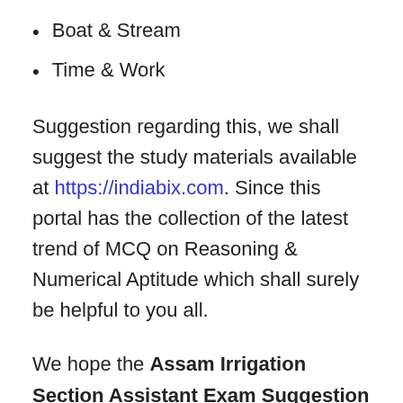Boat & Stream
Time & Work
Suggestion regarding this, we shall suggest the study materials available at https://indiabix.com. Since this portal has the collection of the latest trend of MCQ on Reasoning & Numerical Aptitude which shall surely be helpful to you all.
We hope the Assam Irrigation Section Assistant Exam Suggestion Tips shared here shall be helpful to you all. Hence, be calm at the Exam Centre and concentrate in the examination.